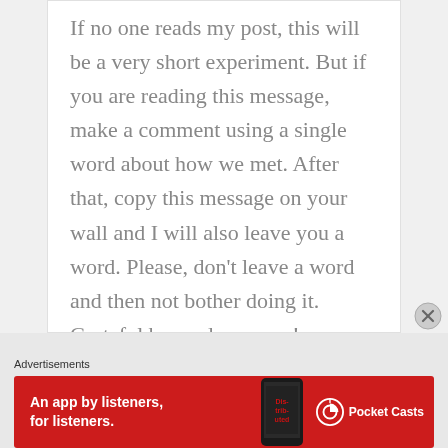If no one reads my post, this will be a very short experiment. But if you are reading this message, make a comment using a single word about how we met. After that, copy this message on your wall and I will also leave you a word. Please, don't leave a word and then not bother doing it. Grateful beyond measure!
Advertisements
[Figure (illustration): Red advertisement banner for Pocket Casts app. Shows text 'An app by listeners, for listeners.' on the left, a smartphone with 'Distributed' text on screen in the center-right, and the Pocket Casts logo with circular icon on the right.]